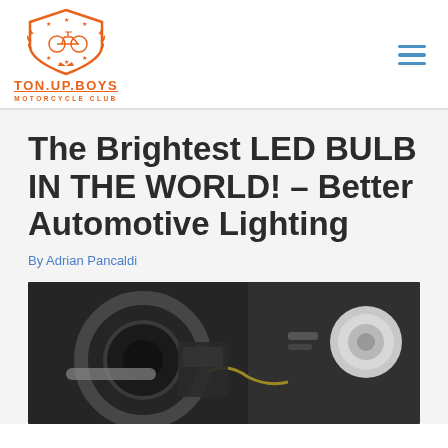[Figure (logo): Ton Up Boys Motorcycle Club shield logo with motorcycle silhouette, laurel branches, and stars in orange]
The Brightest LED BULB IN THE WORLD! – Better Automotive Lighting
By Adrian Pancaldi
[Figure (photo): Close-up photo of motorcycle engine parts, dark mechanical components including what appears to be a steering/handlebar area and cylindrical components, dark industrial background]